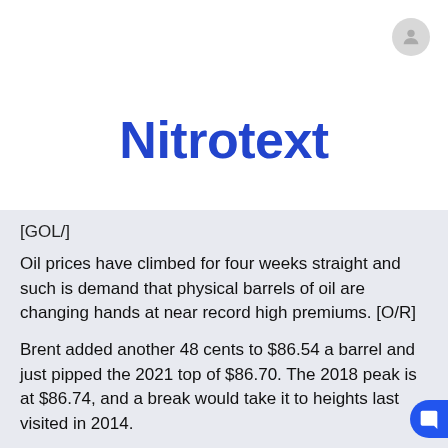Nitrotext
[GOL/]
Oil prices have climbed for four weeks straight and such is demand that physical barrels of oil are changing hands at near record high premiums. [O/R]
Brent added another 48 cents to $86.54 a barrel and just pipped the 2021 top of $86.70. The 2018 peak is at $86.74, and a break would take it to heights last visited in 2014.
U.S. crude also firmed 75 cents to $84.57 per barrel.